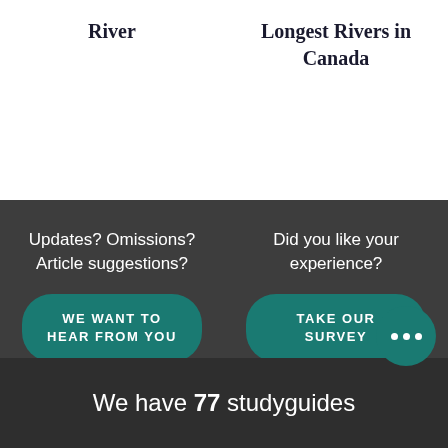River
Longest Rivers in Canada
Updates? Omissions? Article suggestions?
Did you like your experience?
WE WANT TO HEAR FROM YOU
TAKE OUR SURVEY
We have 77 studyguides